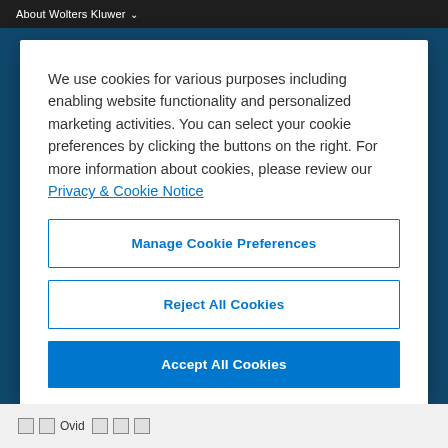About Wolters Kluwer ∨
We use cookies for various purposes including enabling website functionality and personalized marketing activities. You can select your cookie preferences by clicking the buttons on the right. For more information about cookies, please review our Privacy & Cookie Notice
Manage Cookie Preferences
Reject All Cookies
Accept All Cookies
Ovid